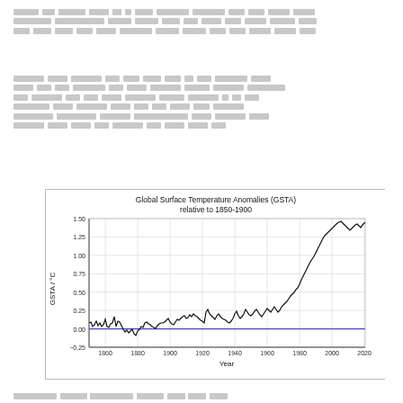[redacted paragraph 1 about topic 6.X and related measurements]
[redacted paragraph 2 discussing methodology, findings, and 6.X analysis covering multiple aspects of the topic]
[Figure (line-chart): Line chart showing Global Surface Temperature Anomalies (GSTA) relative to 1850-1900 baseline. X-axis spans from ~1850 to 2020. Y-axis ranges from -0.25 to 1.50 °C. A blue horizontal line at 0.00 is shown. The black line shows annual anomalies fluctuating near 0 from 1850-1900, rising sharply from ~1980 onward, reaching ~1.3°C by 2020.]
[redacted footnote citation with year reference]